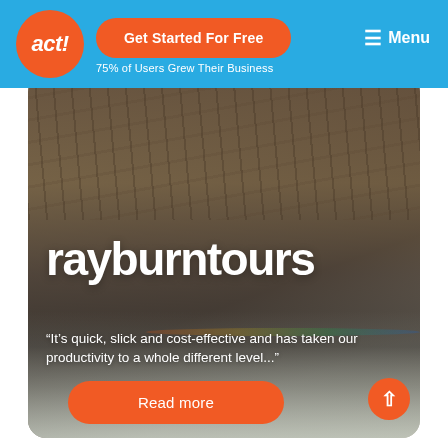act! | Get Started For Free | 75% of Users Grew Their Business | Menu
[Figure (screenshot): Hero image showing rocky cliff/waterfall landscape background with rayburntours branding and testimonial quote overlay. Includes Read more button and scroll-to-top button.]
rayburntours
“It’s quick, slick and cost-effective and has taken our productivity to a whole different level...”